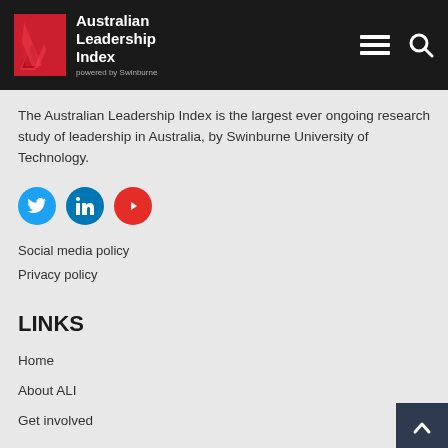Australian Leadership Index powered by Swinburne
The Australian Leadership Index is the largest ever ongoing research study of leadership in Australia, by Swinburne University of Technology.
[Figure (infographic): Three social media icons: Twitter (blue circle), LinkedIn (teal circle), YouTube (red circle)]
Social media policy
Privacy policy
LINKS
Home
About ALI
Get involved
INSIGHTS